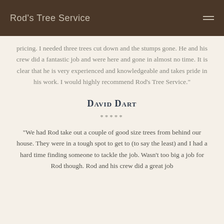Rod's Tree Service
pricing. I needed three trees cut down and the stumps gone. He and his crew did a fantastic job and were here and gone in almost no time. It is clear that he is very experienced and knowledgeable and takes pride in his work. I would highly recommend Rod's Tree Service."
David Dart
*****
"We had Rod take out a couple of good size trees from behind our house. They were in a tough spot to get to (to say the least) and I had a hard time finding someone to tackle the job. Wasn't too big a job for Rod though. Rod and his crew did a great job